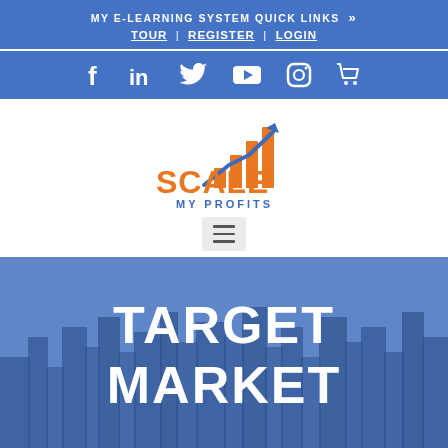MY E-LEARNING SYSTEM QUICK LINKS »  TOUR | REGISTER | LOGIN
[Figure (other): Social media icons row: Facebook, LinkedIn, Twitter, YouTube, Instagram, Shopping Cart]
[Figure (logo): Scale My Profits logo with orange bar chart and blue arrow, text SCALE MY PROFITS]
TARGET MARKET